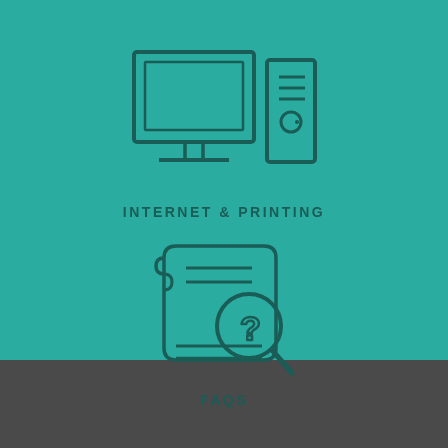[Figure (illustration): Line icon of a desktop computer monitor and tower/PC unit on teal background]
INTERNET & PRINTING
[Figure (illustration): Line icon of a scrolled document with a magnifying glass featuring a question mark, on teal background]
FAQS